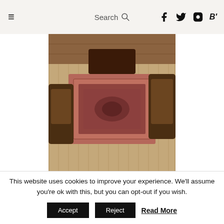≡  Search 🔍  f  Twitter  Instagram  B'
[Figure (photo): Interior room photo showing chairs, a Persian/Oriental rug on a wooden floor, viewed from above. Dark wooden rocking chairs flank an ornate rug with a coffee table visible in the background.]
[Figure (photo): Exterior cityscape photo showing a tall modern high-rise building against a clear blue sky, with lower buildings visible in the foreground.]
This website uses cookies to improve your experience. We'll assume you're ok with this, but you can opt-out if you wish.
Accept  Reject  Read More